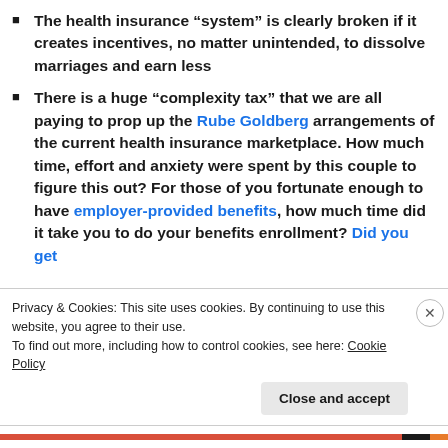The health insurance “system” is clearly broken if it creates incentives, no matter unintended, to dissolve marriages and earn less
There is a huge “complexity tax” that we are all paying to prop up the Rube Goldberg arrangements of the current health insurance marketplace. How much time, effort and anxiety were spent by this couple to figure this out? For those of you fortunate enough to have employer-provided benefits, how much time did it take you to do your benefits enrollment? Did you get
Privacy & Cookies: This site uses cookies. By continuing to use this website, you agree to their use.
To find out more, including how to control cookies, see here: Cookie Policy